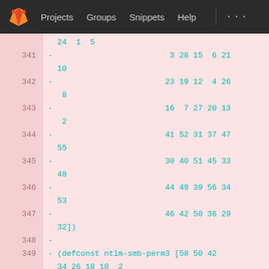[Figure (screenshot): GitLab navigation bar with logo, Projects, Groups, Snippets, Help links]
Code viewer showing lines 341-350 of a Lisp/Clojure source file with numeric array data. Lines: (top) 24 1 5 | 341 - 3 28 15 6 21 | 10 | 342 - 23 19 12 4 26 | 8 | 343 - 16 7 27 20 13 | 2 | 344 - 41 52 31 37 47 | 55 | 345 - 30 40 51 45 33 | 48 | 346 - 44 49 39 56 34 | 53 | 347 - 46 42 50 36 29 | 32]) | 348 - | 349 - (defconst ntlm-smb-perm3 [58 50 42 34 26 18 10 2 | 350 - 60 52 44 36 28 | 20 12 4